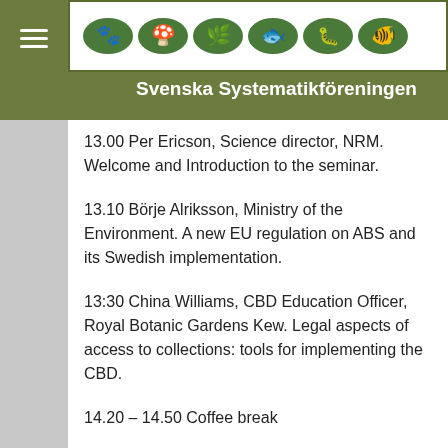Svenska Systematikföreningen
13.00 Per Ericson, Science director, NRM. Welcome and Introduction to the seminar.
13.10 Börje Alriksson, Ministry of the Environment. A new EU regulation on ABS and its Swedish implementation.
13:30 China Williams, CBD Education Officer, Royal Botanic Gardens Kew. Legal aspects of access to collections: tools for implementing the CBD.
14.20 – 14.50 Coffee break
14.50 Mari Källersjö, Director of Gothenburg Botanical Garden. IPEN – an exchange network